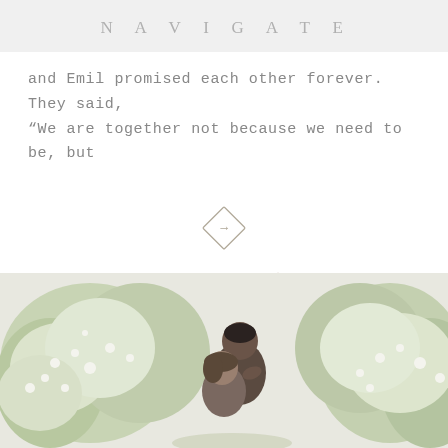NAVIGATE
and Emil promised each other forever. They said, “We are together not because we need to be, but
[Figure (illustration): Diamond-shaped arrow button icon pointing right, with text 'open post' below it]
[Figure (photo): A couple embracing outdoors among flowering white bushes and greenery, soft natural light]